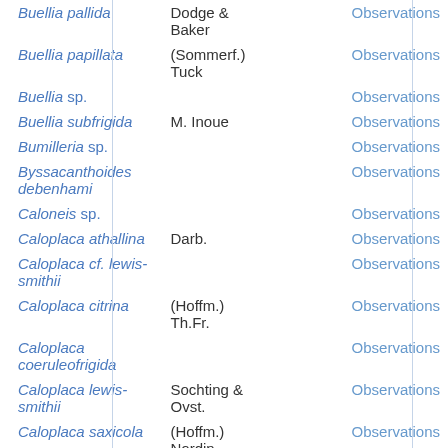| Species | Author |  | Data |
| --- | --- | --- | --- |
| Buellia pallida | Dodge & Baker |  | Observations |
| Buellia papillata | (Sommerf.) Tuck |  | Observations |
| Buellia sp. |  |  | Observations |
| Buellia subfrigida | M. Inoue |  | Observations |
| Bumilleria sp. |  |  | Observations |
| Byssacanthoides debenhami |  |  | Observations |
| Caloneis sp. |  |  | Observations |
| Caloplaca athallina | Darb. |  | Observations |
| Caloplaca cf. lewis-smithii |  |  | Observations |
| Caloplaca citrina | (Hoffm.) Th.Fr. |  | Observations |
| Caloplaca coeruleofrigida |  |  | Observations |
| Caloplaca lewis-smithii | Sochting & Ovst. |  | Observations |
| Caloplaca saxicola | (Hoffm.) Nordin. |  | Observations |
| Caloplaca sp. |  |  | Observations |